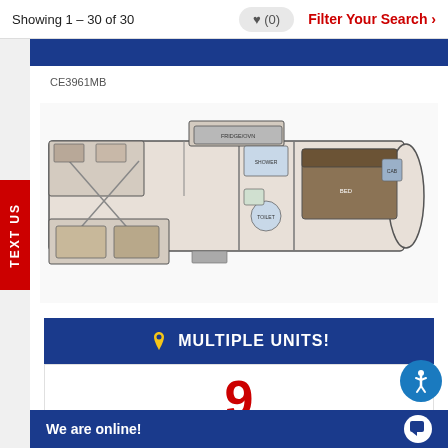Showing 1 – 30 of 30
(0)
Filter Your Search >
TEXT US
CE3961MB
[Figure (engineering-diagram): RV floor plan schematic showing layout of a fifth-wheel trailer with living areas, kitchen, bathroom, and bedroom]
MULTIPLE UNITS!
9
Units available at
We are online!